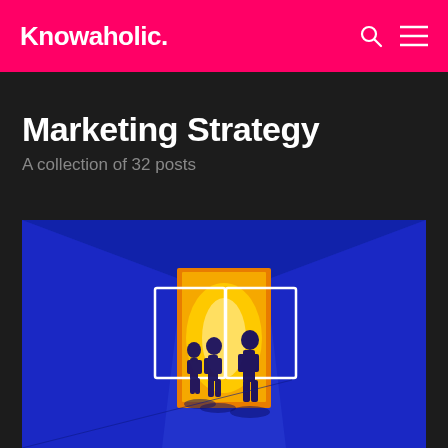Knowaholic.
Marketing Strategy
A collection of 32 posts
[Figure (photo): Dark corridor or tunnel with vibrant blue walls, a glowing yellow/orange rectangle in the center background, and silhouettes of three people standing in the scene.]